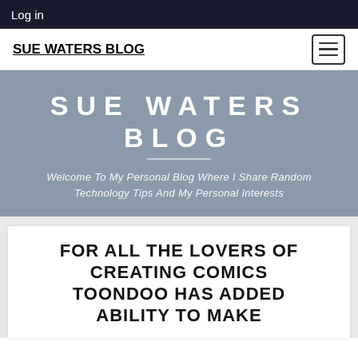Log in
SUE WATERS BLOG
[Figure (other): Hamburger menu icon button]
SUE WATERS BLOG
Welcome To My Personal Blog Where I Share Random Technology Tips And My Personal Interests
FOR ALL THE LOVERS OF CREATING COMICS TOONDOO HAS ADDED ABILITY TO MAKE